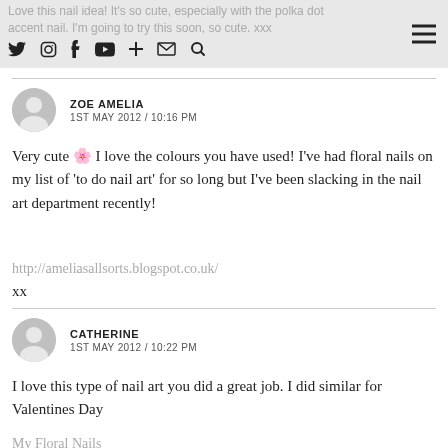Love this nail idea! It's so cute, especially with the polka dot accent nail. I'm going to try this soon, so cute. xxx [nav icons: twitter, instagram, facebook, youtube, plus, mail, search] [hamburger menu]
Very cute 🌸 I love the colours you have used! I've had floral nails on my list of 'to do nail art' for so long but I've been slacking in the nail art department recently!
http://ameliasallsorts.blogspot.co.uk/
xx
I love this type of nail art you did a great job. I did similar for Valentines Day
My Floral Nails